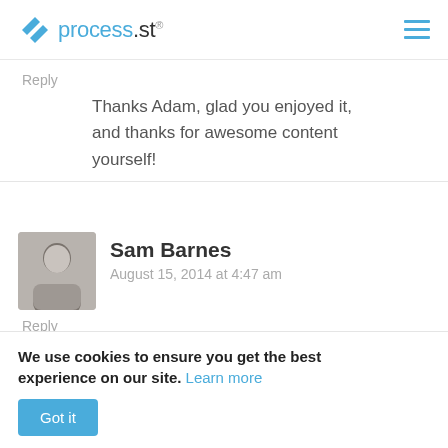process.st
Reply
Thanks Adam, glad you enjoyed it, and thanks for awesome content yourself!
Sam Barnes
August 15, 2014 at 4:47 am
Reply
Wow Vinay this really is a fantastic guide.
I've never thought of it that way, the 30/70 split but it really makes sense after reading through all these places to
We use cookies to ensure you get the best experience on our site. Learn more
Got it